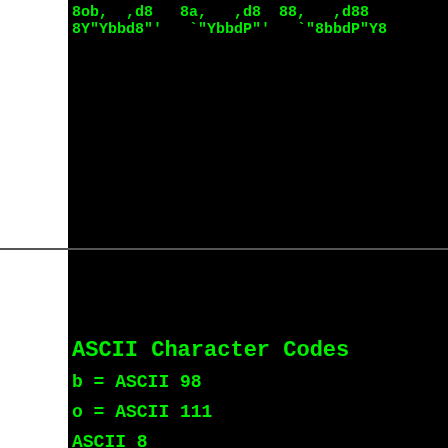8ob,  ,d8   8a,   ,d8  88,   ,d88
8Y"Ybbd8"'   `"YbbdP"'   `"8bbdP"Y8
ASCII Character Codes
b = ASCII 98
o = ASCII 111
ASCII 8...